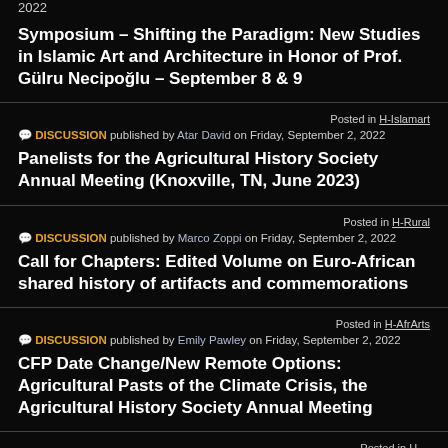2022
Symposium – Shifting the Paradigm: New Studies in Islamic Art and Architecture in Honor of Prof. Gülru Necipoğlu – September 8 & 9
Posted in H-Islamart
DISCUSSION published by Atar David on Friday, September 2, 2022
Panelists for the Agricultural History Society Annual Meeting (Knoxville, TN, June 2023)
Posted in H-Rural
DISCUSSION published by Marco Zoppi on Friday, September 2, 2022
Call for Chapters: Edited Volume on Euro-African shared history of artifacts and commemorations
Posted in H-AfrArts
DISCUSSION published by Emily Pawley on Friday, September 2, 2022
CFP Date Change/New Remote Options: Agricultural Pasts of the Climate Crisis, the Agricultural History Society Annual Meeting
Posted in H-...